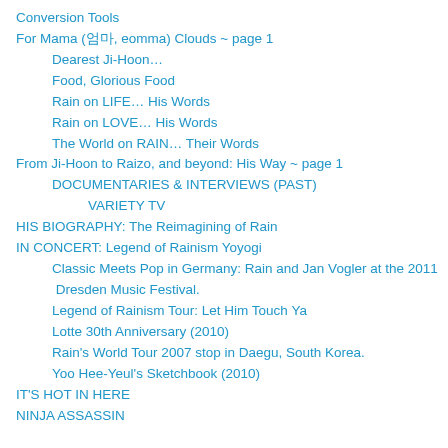Conversion Tools
For Mama (엄마, eomma) Clouds ~ page 1
Dearest Ji-Hoon…
Food, Glorious Food
Rain on LIFE… His Words
Rain on LOVE… His Words
The World on RAIN… Their Words
From Ji-Hoon to Raizo, and beyond: His Way ~ page 1
DOCUMENTARIES & INTERVIEWS (PAST)
VARIETY TV
HIS BIOGRAPHY: The Reimagining of Rain
IN CONCERT: Legend of Rainism Yoyogi
Classic Meets Pop in Germany: Rain and Jan Vogler at the 2011 Dresden Music Festival.
Legend of Rainism Tour: Let Him Touch Ya
Lotte 30th Anniversary (2010)
Rain's World Tour 2007 stop in Daegu, South Korea.
Yoo Hee-Yeul's Sketchbook (2010)
IT'S HOT IN HERE
NINJA ASSASSIN